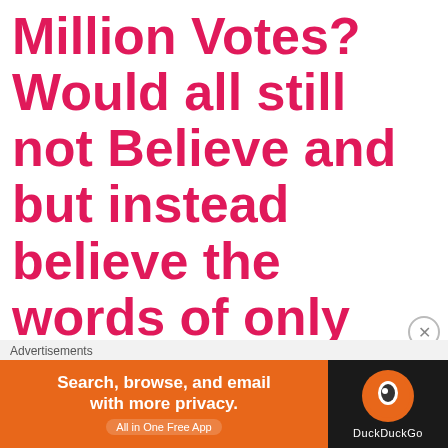Million Votes? Would all still not Believe and but instead believe the words of only One Man again?
But more
Advertisements
[Figure (screenshot): DuckDuckGo advertisement banner: orange background with text 'Search, browse, and email with more privacy. All in One Free App' and DuckDuckGo logo on dark background on right side.]